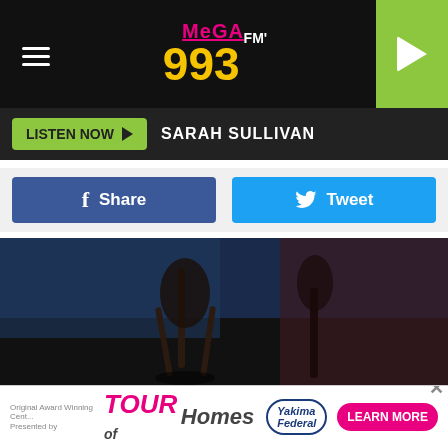MEGA 99.3 FM
LISTEN NOW   SARAH SULLIVAN
[Figure (screenshot): Social share buttons: Facebook Share button (blue) and Tweet button (cyan/blue)]
[Figure (photo): Dark moody photo showing what appears to be cello or string instrument legs/stand on a dark background with blue and red hues]
Along the way, Seger tacitly admitted that the answers might remain elusive. On "Fine Memory," he leaves the final lyric unsung – never repeating "I think I'm gonna take it with me." (He'd used the same technique on 1973's "Turn the Page," simply ending with "here I am.") "Sailing Nights" found him
[Figure (infographic): Advertisement banner for Tour of Homes presented by Yakima Federal with Learn More button]